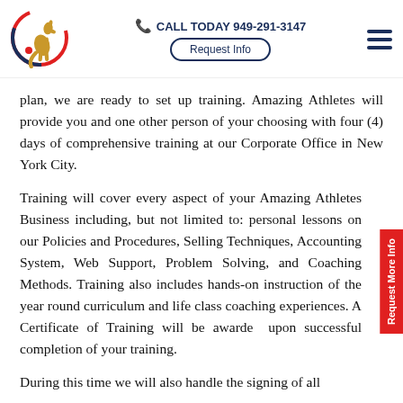CALL TODAY 949-291-3147 | Request Info
plan, we are ready to set up training. Amazing Athletes will provide you and one other person of your choosing with four (4) days of comprehensive training at our Corporate Office in New York City.
Training will cover every aspect of your Amazing Athletes Business including, but not limited to: personal lessons on our Policies and Procedures, Selling Techniques, Accounting System, Web Support, Problem Solving, and Coaching Methods. Training also includes hands-on instruction of the year round curriculum and life class coaching experiences. A Certificate of Training will be awarded upon successful completion of your training.
During this time we will also handle the signing of all